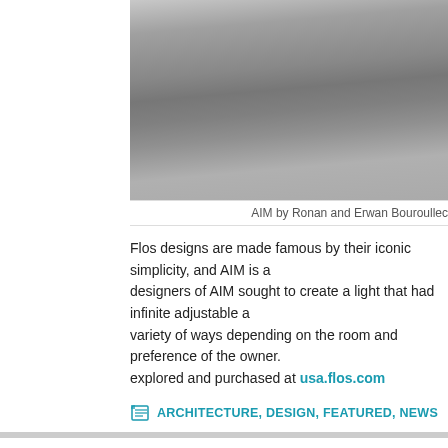[Figure (photo): Grayscale photo of AIM lamp by Ronan and Erwan Bouroullec]
AIM by Ronan and Erwan Bouroullec
Flos designs are made famous by their iconic simplicity, and AIM is a... designers of AIM sought to create a light that had infinite adjustable a... variety of ways depending on the room and preference of the owner.... explored and purchased at usa.flos.com
ARCHITECTURE, DESIGN, FEATURED, NEWS
A Sonic Shade Of Light
BY: MARIJA BOJOVIC | OCTOBER - 18 - 2013
[Figure (photo): Close-up dark photo of a mesh/net structure with teal/cyan glowing grid pattern, organic textured background]